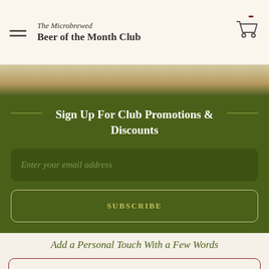The Microbrewed Beer of the Month Club
Sign Up For Club Promotions & Discounts
Enter your email address
SUBSCRIBE
Add a Personal Touch With a Few Words
SEND A GIFT ANNOUNCEMENT